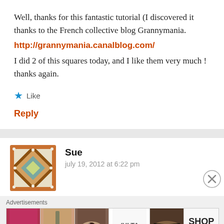Well, thanks for this fantastic tutorial (I discovered it thanks to the French collective blog Grannymania.
http://grannymania.canalblog.com/
I did 2 of this squares today, and I like them very much ! thanks again.
★ Like
Reply
Sue
july 19, 2012 at 6:22 pm
Advertisements
[Figure (screenshot): Advertisement bar showing beauty/makeup product images with ULTA logo and SHOP NOW text]